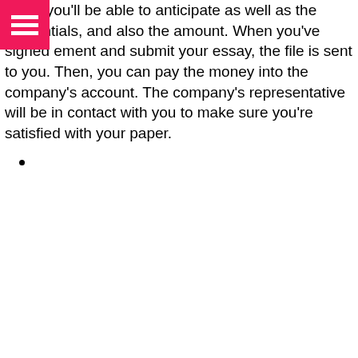s that you'll be able to anticipate as well as the credentials, and also the amount. When you've signed ement and submit your essay, the file is sent to you. Then, you can pay the money into the company's account. The company's representative will be in contact with you to make sure you're satisfied with your paper.